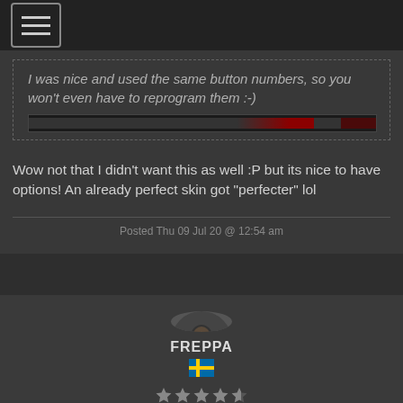[Figure (screenshot): Navigation hamburger menu button at top left]
I was nice and used the same button numbers, so you won't even have to reprogram them :-)
[Figure (screenshot): Image strip showing a controller/keyboard settings interface]
Wow not that I didn't want this as well :P but its nice to have options! An already perfect skin got "perfecter" lol
Posted Thu 09 Jul 20 @ 12:54 am
[Figure (photo): Avatar photo of user FREPPA]
FREPPA
[Figure (illustration): Swedish flag emoji]
[Figure (illustration): Five star rating showing approximately 4.5 stars]